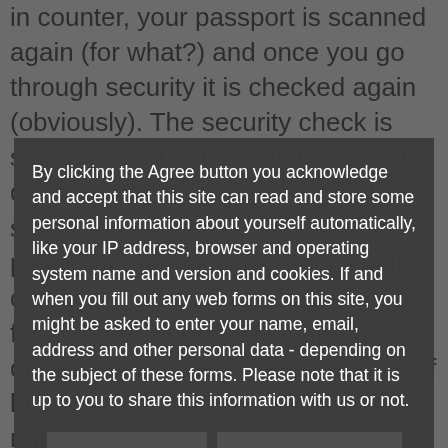in counter, your passport is scanned again (for what?) and once you go through security it is checked again (obviously). The security check is super lax so I don't think they would discover anything anyway with this setup and attitude. The Premium passenger lounge was surprisingly comfy and also had a nice range of food and alcohol. The lounge was quite busy but there were a couple of bits of space. I positioned myself right at the front bit by the window and this was before the bus was even ready or open. My passport was scanned again by another person and this process made it even completely in shoving and
By clicking the Agree button you acknowledge and accept that this site can read and store some personal information about yourself automatically, like your IP address, browser and operating system name and version and cookies. If and when you fill out any web forms on this site, you might be asked to enter your name, email, address and other personal data - depending on the subject of these forms. Please note that it is up to you to share this information with us or not.